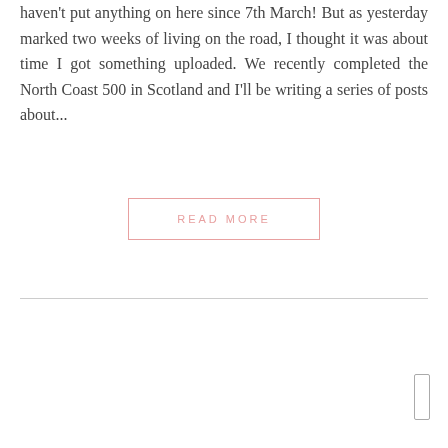haven't put anything on here since 7th March! But as yesterday marked two weeks of living on the road, I thought it was about time I got something uploaded. We recently completed the North Coast 500 in Scotland and I'll be writing a series of posts about...
READ MORE